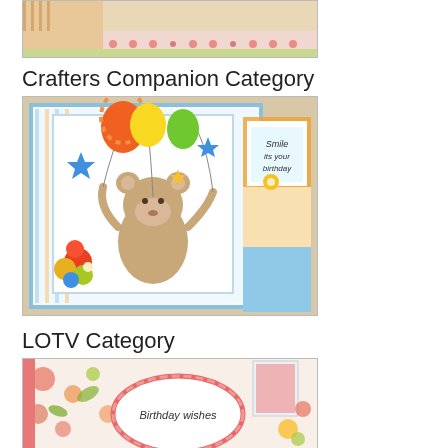[Figure (photo): Partial view of a handmade card with decorative patterned paper strips at the bottom, pink floral pattern on a green/cream background.]
Crafters Companion Category
[Figure (photo): Handmade step card featuring a Tatty Teddy bear holding balloons, decorated with colorful paper flowers, stars and striped patterned paper. Right side shows a sentiment 'Smile its your birthday' on a layered step card.]
LOTV Category
[Figure (photo): Partial view of a handmade card with a pink scalloped oval frame on a floral patterned background, text 'Birthday wishes' visible at the bottom.]